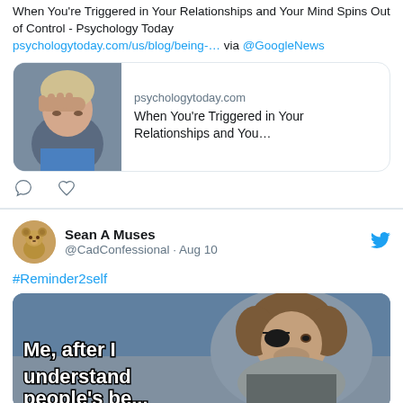When You're Triggered in Your Relationships and Your Mind Spins Out of Control - Psychology Today
psychologytoday.com/us/blog/being-... via @GoogleNews
[Figure (screenshot): Link preview card showing psychologytoday.com with thumbnail image of a woman and title 'When You're Triggered in Your Relationships and You...']
[Figure (other): Tweet action icons: comment bubble and heart/like outline icons]
Sean A Muses @CadConfessional · Aug 10
#Reminder2self
[Figure (photo): Meme image showing a man with an eye patch with text overlay 'Me, after I understand...']